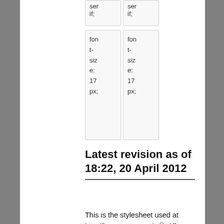| ser if; | ser if; |
| font-size: 17 px; | font-size: 17 px; |
Latest revision as of 18:22, 20 April 2012
This is the stylesheet used at http://lesswrong.com/. All content within the <pre id="stylesheet">